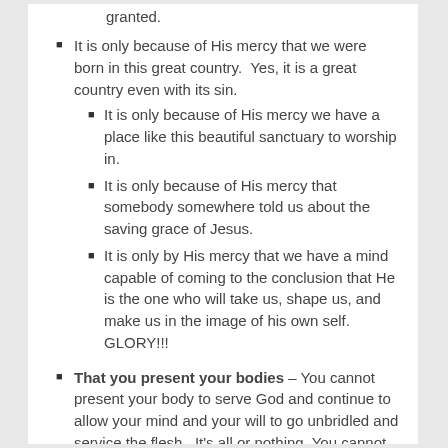granted.
It is only because of His mercy that we were born in this great country.  Yes, it is a great country even with its sin.
It is only because of His mercy we have a place like this beautiful sanctuary to worship in.
It is only because of His mercy that somebody somewhere told us about the saving grace of Jesus.
It is only by His mercy that we have a mind capable of coming to the conclusion that He is the one who will take us, shape us, and make us in the image of his own self.  GLORY!!!
That you present your bodies – You cannot present your body to serve God and continue to allow your mind and your will to go unbridled and service the flesh.  It's all or nothing. You cannot walk the fence and serve God.  The devil, the enemy of your soul, can duplicate everything in the Christian's